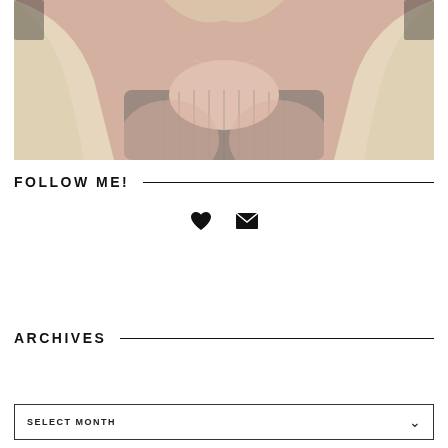[Figure (photo): Photo of a person with blonde hair wearing a grey ribbed top, cropped to show neck and upper chest area]
FOLLOW ME!
[Figure (infographic): Social media icons: heart icon and envelope/email icon]
ARCHIVES
SELECT MONTH